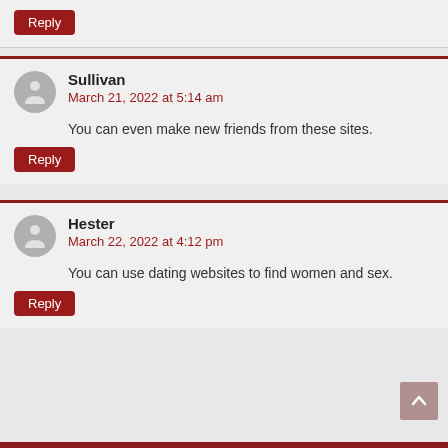Reply
Sullivan
March 21, 2022 at 5:14 am
You can even make new friends from these sites.
Reply
Hester
March 22, 2022 at 4:12 pm
You can use dating websites to find women and sex.
Reply